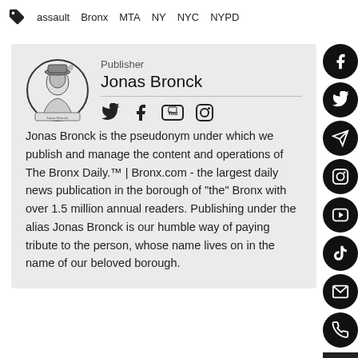assault   Bronx   MTA   NY   NYC   NYPD
Publisher
Jonas Bronck
Jonas Bronck is the pseudonym under which we publish and manage the content and operations of The Bronx Daily.™ | Bronx.com - the largest daily news publication in the borough of "the" Bronx with over 1.5 million annual readers. Publishing under the alias Jonas Bronck is our humble way of paying tribute to the person, whose name lives on in the name of our beloved borough.